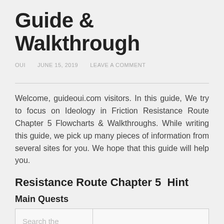Guide & Walkthrough
OUI   JUNE 15, 2019   LEAVE A COMMENT
Welcome, guideoui.com visitors. In this guide, We try to focus on Ideology in Friction Resistance Route Chapter 5 Flowcharts & Walkthroughs. While writing this guide, we pick up many pieces of information from several sites for you. We hope that this guide will help you.
Resistance Route Chapter 5  Hint
Main Quests
| Search the |  |
| --- | --- |